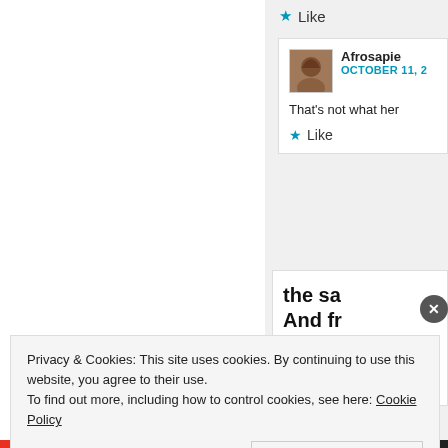[Figure (screenshot): Website comment section showing a Like button, a user comment by 'Afrosapie' dated October 11, with text 'That's not what her' and a Like button, plus a promotional box with bold text 'the sa... And fr...' and circular user avatars with a close button]
Privacy & Cookies: This site uses cookies. By continuing to use this website, you agree to their use.
To find out more, including how to control cookies, see here: Cookie Policy
Close and accept